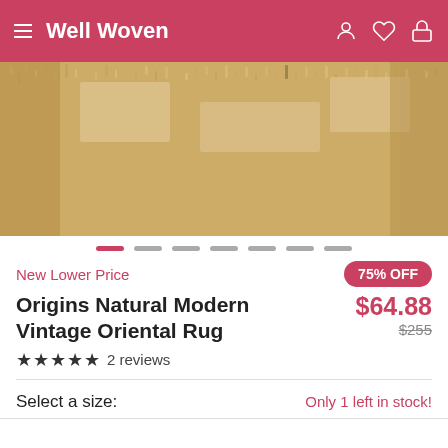Well Woven
[Figure (photo): Close-up photo of a tan/beige textured oriental rug with vintage pattern]
New Lower Price | 75% OFF
Origins Natural Modern Vintage Oriental Rug
$64.88  $255
★★★★★ 2 reviews
Select a size:
Only 1 left in stock!